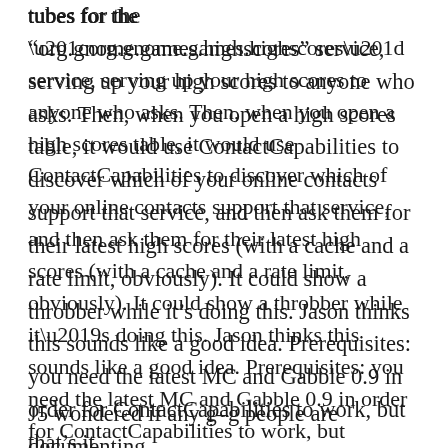tubes for the “org.gnome.games.highscores” service, serving up your high scores to anyone who asks. Then, when you open a high scores table, it would use ContactCapabilities to discover which of your online contacts support that service, and then ask them for their latest high scores (with a cache and a rate limit, obviously). It could show a throbber while it’s doing this. Jason thinks this sounds like a good idea. Prerequisites: you need the latest MC and Gabble 0.9 in order for ContactCapabilities to work, but that’s it.
J5 wondered if any g-g people are documenting